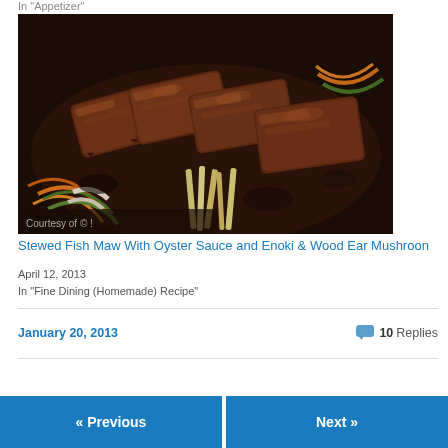In "Appetizer"
[Figure (photo): Photo of stewed braised meat pieces glazed with dark sauce, served on a plate with vegetable garnishes including sliced carrots, cucumber, and green onions]
Stewed Fish Maw With Oyster Sauce and Enoki & Wood Ear Mushroon
April 12, 2013
In "Fine Dining (Homemade) Recipe"
January 20, 2013
10 Replies
« Previous
Next »